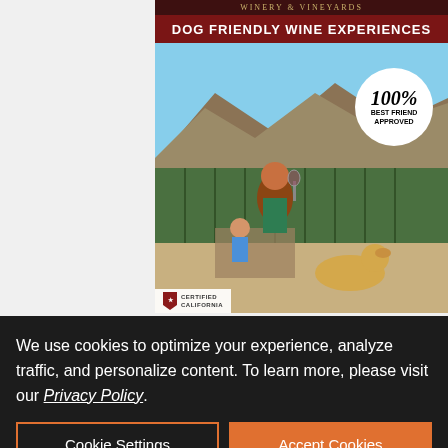[Figure (photo): Winery and Vineyards advertisement with headline 'DOG FRIENDLY WINE EXPERIENCES'. Photo shows a woman with a dog at a vineyard with mountains in background. Badge reads '100% BEST FRIEND APPROVED'. Certified California logo at bottom left.]
[Figure (logo): Exchange Bank advertisement. Left panel: Exchange Bank logo with EB orange icon, Member FDIC, Equal Housing Lender, NMLS ID 643948. Right panel (dark blue): 'Helping local families and businesses since 1890.' with EXCHANGEBANK.COM link.]
Avenu Philli
We use cookies to optimize your experience, analyze traffic, and personalize content. To learn more, please visit our Privacy Policy.
Cookie Settings
Accept Cookies